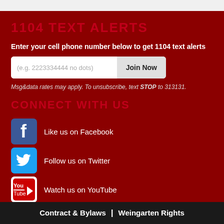1104 TEXT ALERTS
Enter your cell phone number below to get 1104 text alerts
Msg&data rates may apply. To unsubscribe, text STOP to 313131.
CONNECT WITH US
Like us on Facebook
Follow us on Twitter
Watch us on YouTube
Subscribe to our News Feed
Contract & Bylaws | Weingarten Rights